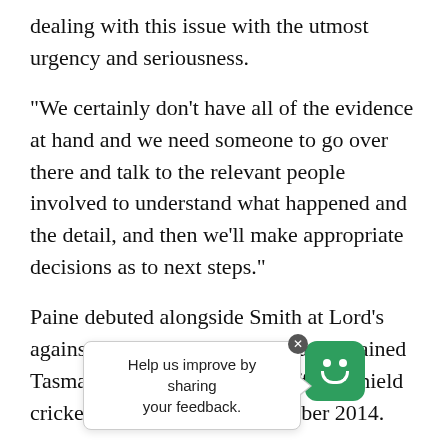dealing with this issue with the utmost urgency and seriousness.
"We certainly don't have all of the evidence at hand and we need someone to go over there and talk to the relevant people involved to understand what happened and the detail, and then we'll make appropriate decisions as to next steps."
Paine debuted alongside Smith at Lord's against Pakistan in 2010 and has captained Tasmania 12 times in JLT Sheffield Shield cricket, the last time in November 2014.
The morning after admitting to ball tampering, Smith was noticeably absent as his team warmed up ahead of Sund[ay's match]...
[Figure (other): Feedback widget overlay: a speech bubble with 'Help us improve by sharing your feedback.' text, a close button (x), and a green chatbot icon with smiley face.]